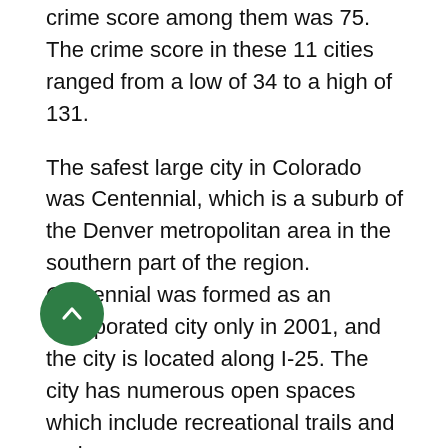crime score among them was 75. The crime score in these 11 cities ranged from a low of 34 to a high of 131.
The safest large city in Colorado was Centennial, which is a suburb of the Denver metropolitan area in the southern part of the region. Centennial was formed as an incorporated city only in 2001, and the city is located along I-25. The city has numerous open spaces which include recreational trails and parks.
Pueblo, Colorado, located south of Colorado Springs along I-25, was the large city in Colorado with the most crime, having roughly four times as much crime as Centennial, the safest large city. Pueblo is a center for renewable energy, hosting the world's largest wind turbine tower manufacturing plant, operated by Vestas. It is also host to the largest solar energy farm